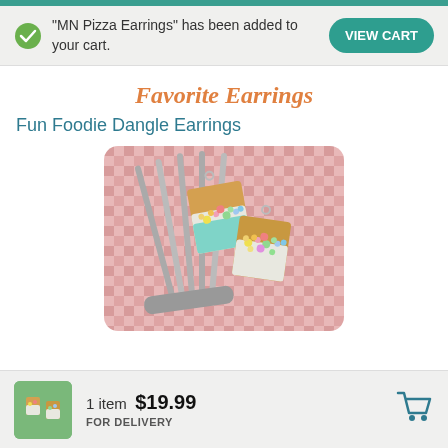“MN Pizza Earrings” has been added to your cart.
VIEW CART
Favorite Earrings
Fun Foodie Dangle Earrings
[Figure (photo): Photo of two pizza slice-shaped dangle earrings balanced on fork tines against a pink gingham background. The earrings have tan crusts, white frosting, and colorful candy toppings in yellow, green, pink and blue.]
1 item  $19.99  FOR DELIVERY